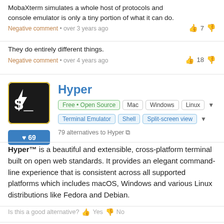MobaXterm simulates a whole host of protocols and console emulator is only a tiny portion of what it can do.
Negative comment • over 3 years ago
They do entirely different things.
Negative comment • over 4 years ago
Hyper
Free • Open Source  Mac  Windows  Linux
Terminal Emulator  Shell  Split-screen view
79 alternatives to Hyper
Hyper™ is a beautiful and extensible, cross-platform terminal built on open web standards. It provides an elegant command-line experience that is consistent across all supported platforms which includes macOS, Windows and various Linux distributions like Fedora and Debian.
Is this a good alternative? Yes No